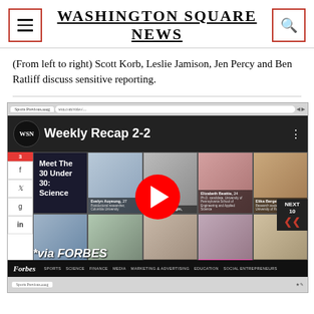Washington Square News
(From left to right) Scott Korb, Leslie Jamison, Jen Percy and Ben Ratliff discuss sensitive reporting.
[Figure (screenshot): Screenshot of a Washington Square News webpage showing a YouTube video embed titled 'Weekly Recap 2-2' featuring 'Meet The 30 Under 30: Science' with thumbnails of scientists including Evelyn Auyeung, Konstantin Batygin, Elizabeth Beattie, Elika Bergelson, Vijay Chudasama, Canan Dagdeviren, Satoru Emori, Jon Freeman, and Eran Hodis. The video player shows a red YouTube play button. Below the grid is text '*via FORBES' and a Forbes navigation bar with Sports, Science, Finance, Media, Marketing & Advertising, Education, Social Entrepreneurs.]